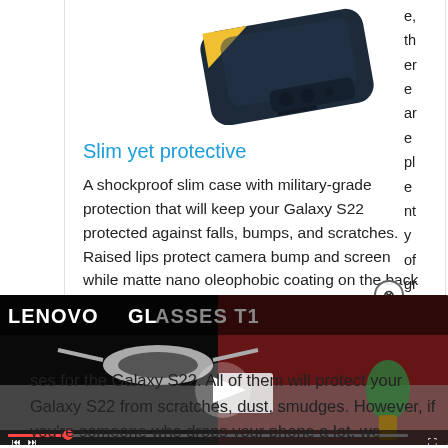[Figure (photo): Product photo of a dark navy/black slim phone case for Samsung Galaxy S22, shown at an angle with a yellow accent visible]
Slim yet protective
A shockproof slim case with military-grade protection that will keep your Galaxy S22 protected against falls, bumps, and scratches. Raised lips protect camera bump and screen while matte nano oleophobic coating on the back keeps smudges and fingerprints away.
View at A
[Figure (screenshot): Video overlay showing 'LENOVO GLASSES T1' with a thumbnail of smart glasses on a table, with video player controls]
ses for the Galaxy S22. All of them will protect your Galaxy S22 from scratches, dust, smudges. However, if you're someone who drops your phone a lot, we